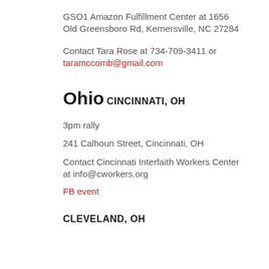GSO1 Amazon Fulfillment Center at 1656 Old Greensboro Rd, Kernersville, NC 27284
Contact Tara Rose at 734-709-3411 or taramccomb@gmail.com
Ohio
CINCINNATI, OH
3pm rally
241 Calhoun Street, Cincinnati, OH
Contact Cincinnati Interfaith Workers Center at info@cworkers.org
FB event
CLEVELAND, OH